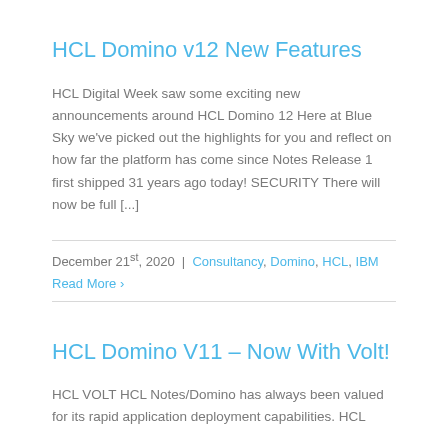HCL Domino v12 New Features
HCL Digital Week saw some exciting new announcements around HCL Domino 12 Here at Blue Sky we've picked out the highlights for you and reflect on how far the platform has come since Notes Release 1 first shipped 31 years ago today! SECURITY There will now be full [...]
December 21st, 2020  |  Consultancy, Domino, HCL, IBM
Read More ›
HCL Domino V11 – Now With Volt!
HCL VOLT HCL Notes/Domino has always been valued for its rapid application deployment capabilities. HCL